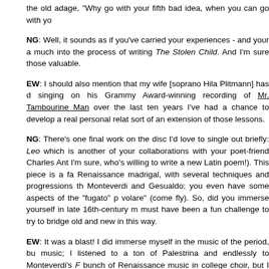the old adage, "Why go with your fifth bad idea, when you can go with yo
NG: Well, it sounds as if you've carried your experiences - and your a much into the process of writing The Stolen Child. And I'm sure those valuable.
EW: I should also mention that my wife [soprano Hila Plitmann] has d singing on his Grammy Award-winning recording of Mr. Tambourine Man over the last ten years I've had a chance to develop a real personal relat sort of an extension of those lessons.
NG: There's one final work on the disc I'd love to single out briefly: Leo which is another of your collaborations with your poet-friend Charles Ant I'm sure, who's willing to write a new Latin poem!). This piece is a fa Renaissance madrigal, with several techniques and progressions th Monteverdi and Gesualdo; you even have some aspects of the "fugato" p volare" (come fly). So, did you immerse yourself in late 16th-century m must have been a fun challenge to try to bridge old and new in this way.
EW: It was a blast! I did immerse myself in the music of the period, bu music; I listened to a ton of Palestrina and endlessly to Monteverdi's F bunch of Renaissance music in college choir, but I didn't want to copy a like on the line "Releasing purchased pigeons one by one", it's very Ge was commissioned for the American Choral Directors Association, and s front of 8,000 "choir geeks" like me. So I could load it with all these pe through them; it was really fun to write.
NG: Yes, and those descending suspensions at the beginning of the work